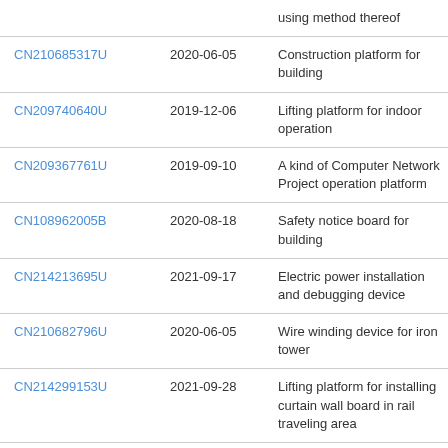| Patent ID | Date | Description |
| --- | --- | --- |
|  |  | using method thereof |
| CN210685317U | 2020-06-05 | Construction platform for building |
| CN209740640U | 2019-12-06 | Lifting platform for indoor operation |
| CN209367761U | 2019-09-10 | A kind of Computer Network Project operation platform |
| CN108962005B | 2020-08-18 | Safety notice board for building |
| CN214213695U | 2021-09-17 | Electric power installation and debugging device |
| CN210682796U | 2020-06-05 | Wire winding device for iron tower |
| CN214299153U | 2021-09-28 | Lifting platform for installing curtain wall board in rail traveling area |
| CN212222199U | 2020-12-25 | Gantry crane supporting leg |